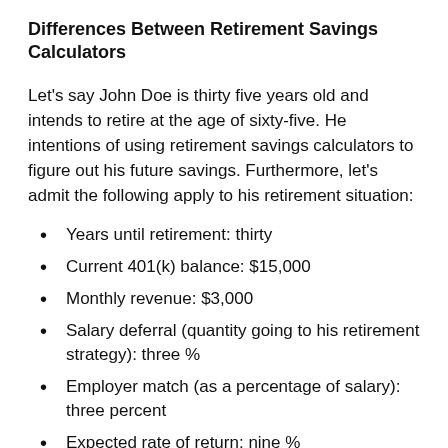Differences Between Retirement Savings Calculators
Let's say John Doe is thirty five years old and intends to retire at the age of sixty-five. He intentions of using retirement savings calculators to figure out his future savings. Furthermore, let's admit the following apply to his retirement situation:
Years until retirement: thirty
Current 401(k) balance: $15,000
Monthly revenue: $3,000
Salary deferral (quantity going to his retirement strategy): three %
Employer match (as a percentage of salary): three percent
Expected rate of return: nine %
Inserting all of these figures into Bankrate.com's